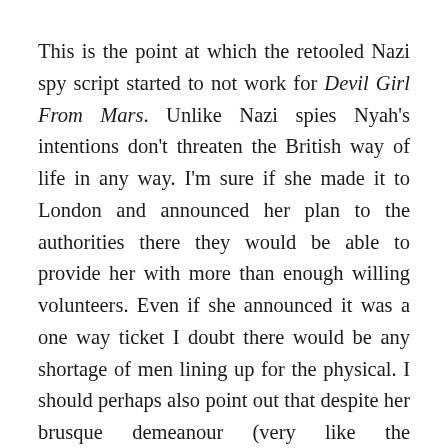This is the point at which the retooled Nazi spy script started to not work for Devil Girl From Mars. Unlike Nazi spies Nyah's intentions don't threaten the British way of life in any way. I'm sure if she made it to London and announced her plan to the authorities there they would be able to provide her with more than enough willing volunteers. Even if she announced it was a one way ticket I doubt there would be any shortage of men lining up for the physical. I should perhaps also point out that despite her brusque demeanour (very like the stereotypical Nazi she was based upon) Nyah is not an unpleasant threat. Combine this with the fact that all she wants to do is take a few men back